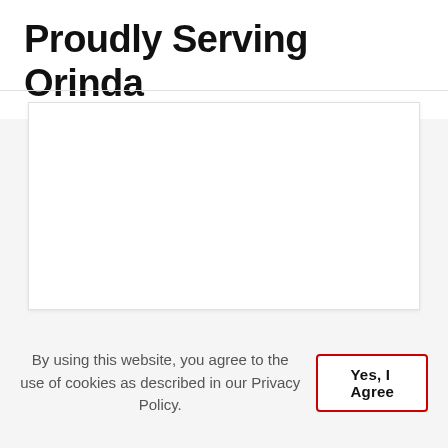Proudly Serving Orinda
[Figure (other): White rectangular image placeholder area with light border and shadow]
By using this website, you agree to the use of cookies as described in our Privacy Policy.
Yes, I Agree